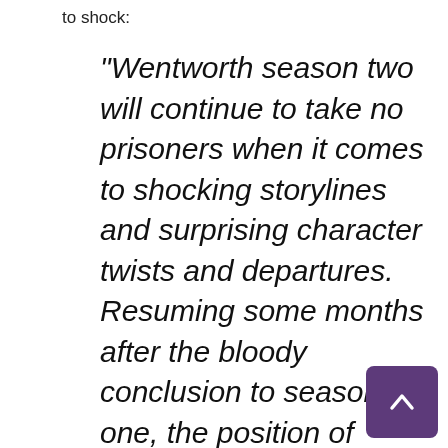to shock:
“Wentworth season two will continue to take no prisoners when it comes to shocking storylines and surprising character twists and departures. Resuming some months after the bloody conclusion to season one, the position of Governor has once again been challenged. It’s time for Joan Ferguson to enter the fray and Pamela is a remarkable addition to the amazing cast for